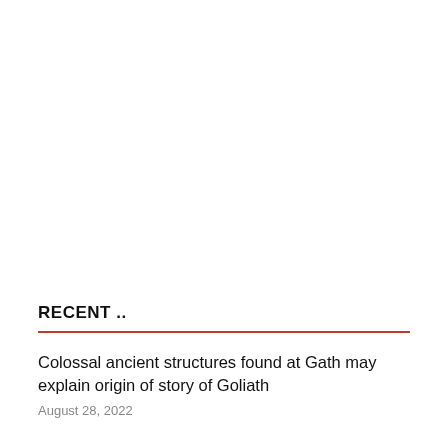RECENT ..
Colossal ancient structures found at Gath may explain origin of story of Goliath
August 28, 2022